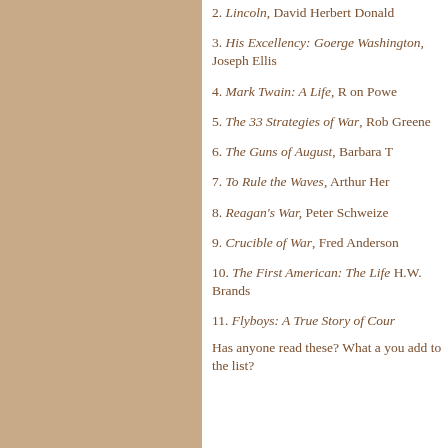2. Lincoln, David Herbert Donald
3. His Excellency: Goerge Washington, Joseph Ellis
4. Mark Twain: A Life, R on Powe
5. The 33 Strategies of War, Rob Greene
6. The Guns of August, Barbara T
7. To Rule the Waves, Arthur Her
8. Reagan's War, Peter Schweize
9. Crucible of War, Fred Anderson
10. The First American: The Life H.W. Brands
11. Flyboys: A True Story of Cour
Has anyone read these?  What a you add to the list?